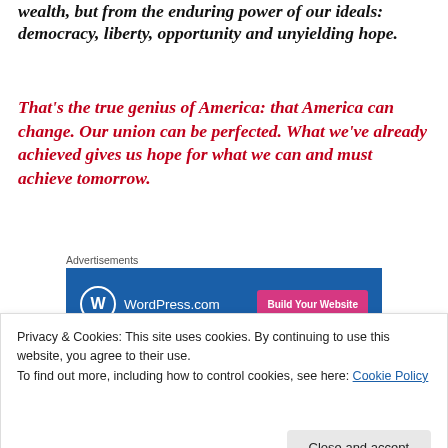wealth, but from the enduring power of our ideals: democracy, liberty, opportunity and unyielding hope.
That’s the true genius of America: that America can change. Our union can be perfected. What we’ve already achieved gives us hope for what we can and must achieve tomorrow.
Advertisements
[Figure (other): WordPress.com advertisement banner with logo and 'Build Your Website' button]
REPORT THIS AD
[Figure (other): Framed image with text 'LET US BE JUDGED NOT BY' at top]
Privacy & Cookies: This site uses cookies. By continuing to use this website, you agree to their use.
To find out more, including how to control cookies, see here: Cookie Policy
Close and accept